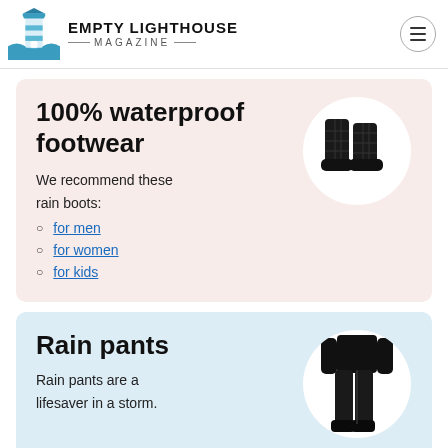EMPTY LIGHTHOUSE MAGAZINE
100% waterproof footwear
We recommend these rain boots:
for men
for women
for kids
[Figure (photo): Black quilted rain boots on white circle background]
Rain pants
Rain pants are a lifesaver in a storm.
[Figure (photo): Person wearing black rain pants on white circle background]